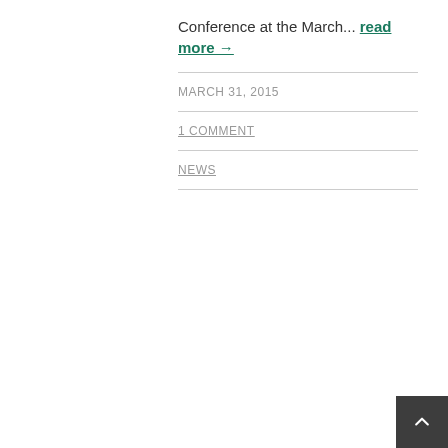Conference at the March... read more →
MARCH 31, 2015
1 COMMENT
NEWS